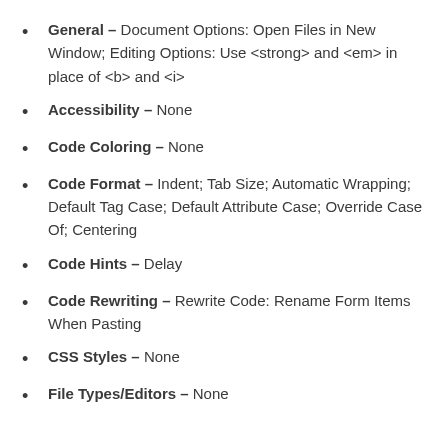General – Document Options: Open Files in New Window; Editing Options: Use <strong> and <em> in place of <b> and <i>
Accessibility – None
Code Coloring – None
Code Format – Indent; Tab Size; Automatic Wrapping; Default Tag Case; Default Attribute Case; Override Case Of; Centering
Code Hints – Delay
Code Rewriting – Rewrite Code: Rename Form Items When Pasting
CSS Styles – None
File Types/Editors – None